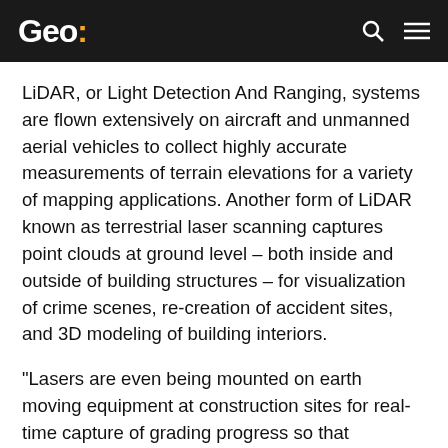Geo:
LiDAR, or Light Detection And Ranging, systems are flown extensively on aircraft and unmanned aerial vehicles to collect highly accurate measurements of terrain elevations for a variety of mapping applications. Another form of LiDAR known as terrestrial laser scanning captures point clouds at ground level – both inside and outside of building structures – for visualization of crime scenes, re-creation of accident sites, and 3D modeling of building interiors.
“Lasers are even being mounted on earth moving equipment at construction sites for real-time capture of grading progress so that engineering managers can make on-the-spot decisions,” said Toby Martin, Vice President of Development & Strategy at Extensis. “LiDAR compression makes this possible and is revolutionizing workflows in the